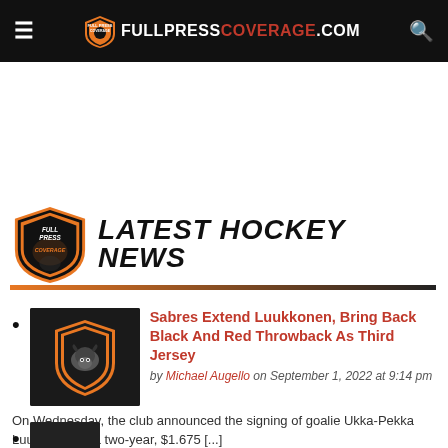FULLPRESSCOVERAGE.COM
[Figure (logo): Full Press Coverage logo with shield icon and LATEST HOCKEY NEWS section header]
Sabres Extend Luukkonen, Bring Back Black And Red Throwback As Third Jersey — by Michael Augello on September 1, 2022 at 9:14 pm — On Wednesday, the club announced the signing of goalie Ukka-Pekka Luukkonen to a two-year, $1.675 [...]
Second news item (partially visible)